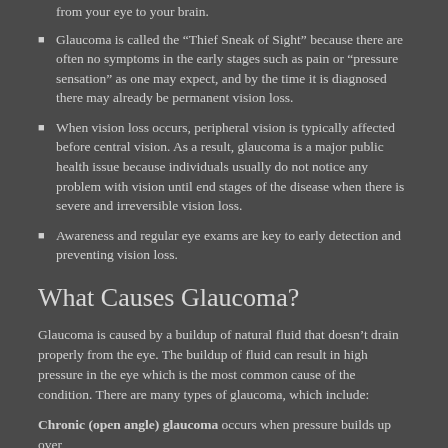from your eye to your brain.
Glaucoma is called the “Thief Sneak of Sight” because there are often no symptoms in the early stages such as pain or "pressure sensation" as one may expect, and by the time it is diagnosed there may already be permanent vision loss.
When vision loss occurs, peripheral vision is typically affected before central vision. As a result, glaucoma is a major public health issue because individuals usually do not notice any problem with vision until end stages of the disease when there is severe and irreversible vision loss.
Awareness and regular eye exams are key to early detection and preventing vision loss.
What Causes Glaucoma?
Glaucoma is caused by a buildup of natural fluid that doesn’t drain properly from the eye. The buildup of fluid can result in high pressure in the eye which is the most common cause of the condition. There are many types of glaucoma, which include:
Chronic (open angle) glaucoma occurs when pressure builds up over